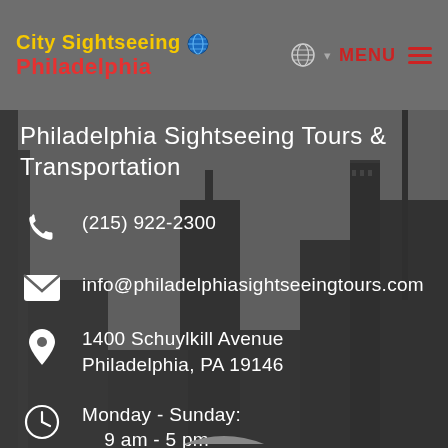City Sightseeing Philadelphia | MENU
Philadelphia Sightseeing Tours & Transportation
(215) 922-2300
info@philadelphiasightseeingtours.com
1400 Schuylkill Avenue Philadelphia, PA 19146
Monday - Sunday: 9 am - 5 pm